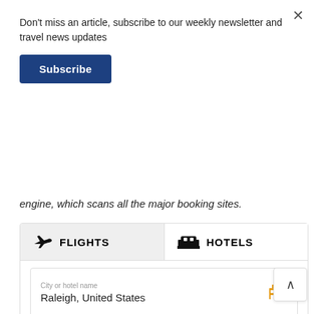×
Don't miss an article, subscribe to our weekly newsletter and travel news updates
Subscribe
engine, which scans all the major booking sites.
[Figure (screenshot): Travel booking widget with FLIGHTS and HOTELS tabs. Hotels tab shown with fields: City or hotel name (Raleigh, United States), Check-In (6 September, Tue), Check-Out (13 September, Tue), and partially visible guests field.]